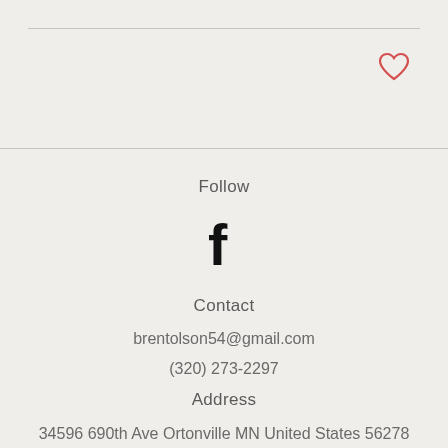[Figure (illustration): Heart/like icon outline in red/coral color, top right area]
Follow
[Figure (logo): Facebook 'f' logo in bold black]
Contact
brentolson54@gmail.com
(320) 273-2297
Address
34596 690th Ave Ortonville MN United States 56278
©2018 by Independently Speaking. Proudly created with Wix.com